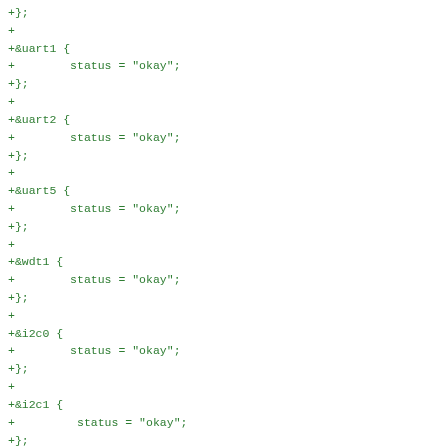+};
+
+&uart1 {
+        status = "okay";
+};
+
+&uart2 {
+        status = "okay";
+};
+
+&uart5 {
+        status = "okay";
+};
+
+&wdt1 {
+        status = "okay";
+};
+
+&i2c0 {
+        status = "okay";
+};
+
+&i2c1 {
+         status = "okay";
+};
+
+&i2c2 {
+        status = "okay";
+};
+
+&i2c3 {